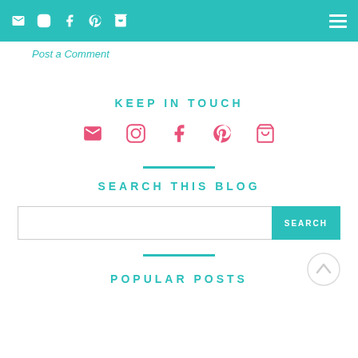Navigation bar with social icons and hamburger menu
Post a Comment
KEEP IN TOUCH
[Figure (illustration): Row of 5 pink social media icons: envelope, Instagram, Facebook, Pinterest, shopping cart]
SEARCH THIS BLOG
SEARCH (search input box with teal search button)
POPULAR POSTS